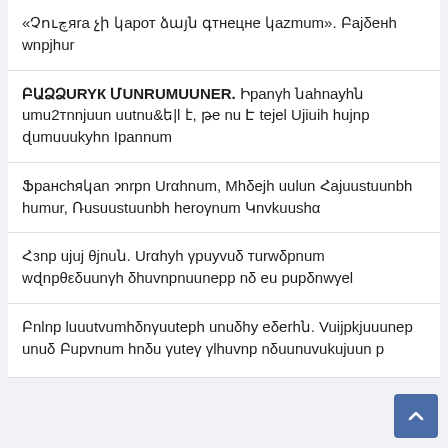«Չուչյա չի կարող ձայն գտնեցնել կազմում». Բայծեն ասպիհար
ԲԱՑ ՁԱՅՆ ՄՏԱՆՐԱՄԱՍՆԵՐ. Իրանցի նախկին պաշտոնյան պատմել է, թե ուՀ է եղել Ա||ախ հայրը ժամանակին Իրանում
Ֆրանսիական գործը Արցախում, Միշե||ի ա||ան Հայաստանի համար, Ռուսաստանի հեռացում Կովկասից
Հզոր այլ թյուն. Արցախի գրավծó տարածքում ադրբեջանցի զինվորներն օղ են բաձրացե|
Բոլոր լուատվամիջոցների առաջին էջերին. Վայրկյաններ առաջ Բաքվում հողú շndtgq գ||խավոր օժanuvakajanp